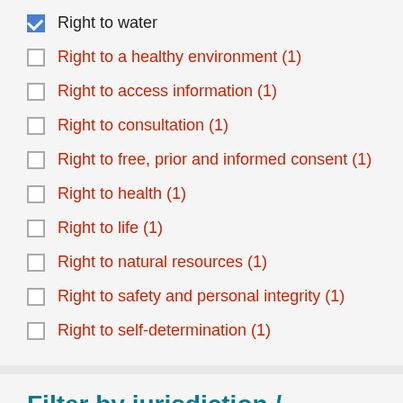Right to water
Right to a healthy environment (1)
Right to access information (1)
Right to consultation (1)
Right to free, prior and informed consent (1)
Right to health (1)
Right to life (1)
Right to natural resources (1)
Right to safety and personal integrity (1)
Right to self-determination (1)
Filter by jurisdiction / jurisdicción:
Inter-American System